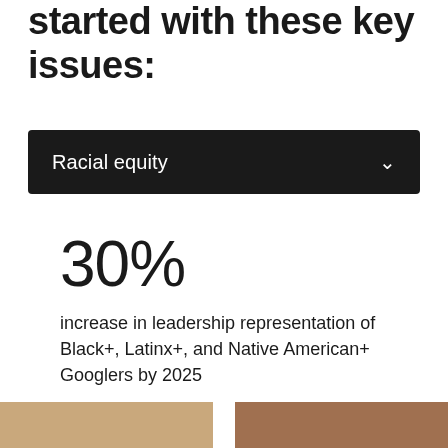started with these key issues:
Racial equity
30%
increase in leadership representation of Black+, Latinx+, and Native American+ Googlers by 2025
[Figure (photo): Two partial photo thumbnails visible at the bottom of the page]